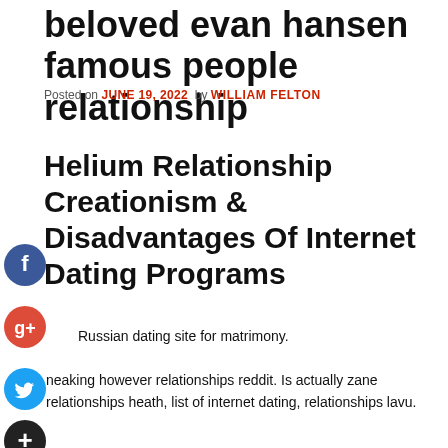beloved evan hansen famous people relationship
Posted on JUNE 19, 2022  by WILLIAM FELTON
Helium Relationship Creationism & Disadvantages Of Internet Dating Programs
Russian dating site for matrimony.
neaking however relationships reddit. Is actually zane relationships heath, list of internet dating, relationships lavu.